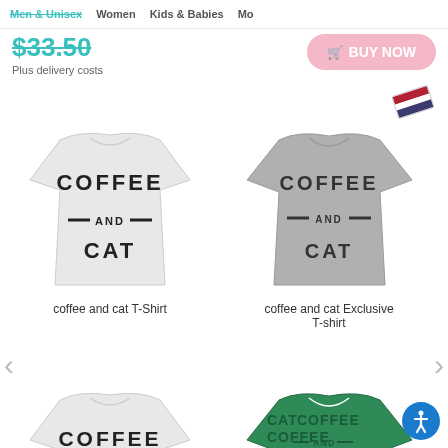Men & Unisex  Women  Kids & Babies  Mo
$33.50
Plus delivery costs
BUY NOW
[Figure (photo): White t-shirt with COFFEE AND CAT text]
coffee and cat T-Shirt
[Figure (photo): Gray t-shirt with COFFEE AND CAT text]
coffee and cat Exclusive T-shirt
[Figure (photo): White t-shirt with COFFEE AND CAT text (second)]
[Figure (photo): Green all-over print t-shirt with CAT COFFEE AND pattern]